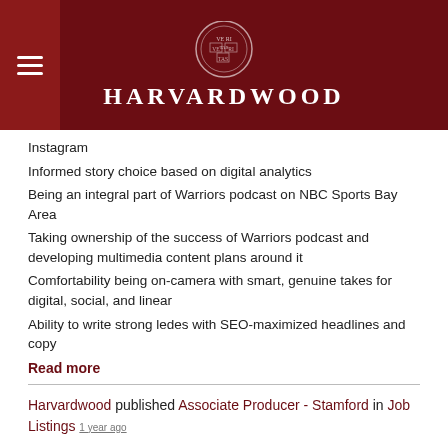HARVARDWOOD
Instagram
Informed story choice based on digital analytics
Being an integral part of Warriors podcast on NBC Sports Bay Area
Taking ownership of the success of Warriors podcast and developing multimedia content plans around it
Comfortability being on-camera with smart, genuine takes for digital, social, and linear
Ability to write strong ledes with SEO-maximized headlines and copy
Read more
Harvardwood published Associate Producer - Stamford in Job Listings 1 year ago
Associate Producer - Stamford
Company: The Steve Wilkos Show